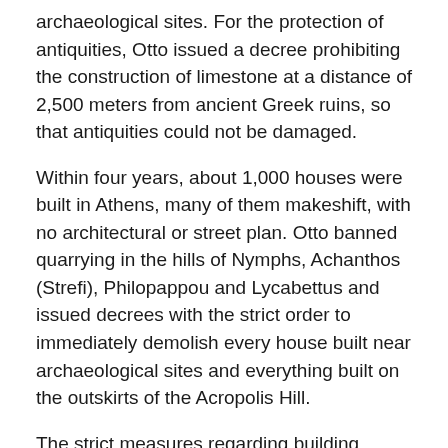archaeological sites. For the protection of antiquities, Otto issued a decree prohibiting the construction of limestone at a distance of 2,500 meters from ancient Greek ruins, so that antiquities could not be damaged.
Within four years, about 1,000 houses were built in Athens, many of them makeshift, with no architectural or street plan. Otto banned quarrying in the hills of Nymphs, Achanthos (Strefi), Philopappou and Lycabettus and issued decrees with the strict order to immediately demolish every house built near archaeological sites and everything built on the outskirts of the Acropolis Hill.
The strict measures regarding building houses made Otto lose his popularity with the poor masses, but he insisted on issuing other decrees.